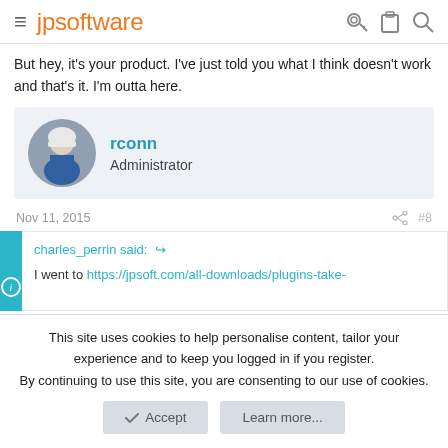jpsoftware
But hey, it's your product. I've just told you what I think doesn't work and that's it. I'm outta here.
rconn
Administrator
Nov 11, 2015  #8
charles_perrin said: ↩

I went to https://jpsoft.com/all-downloads/plugins-take-
This site uses cookies to help personalise content, tailor your experience and to keep you logged in if you register.
By continuing to use this site, you are consenting to our use of cookies.